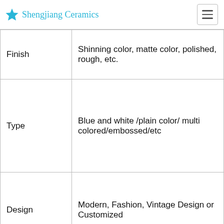Shengjiang Ceramics
| Finish | Shinning color, matte color, polished, rough, etc. |
| Type | Blue and white /plain color/ multi colored/embossed/etc |
| Design | Modern, Fashion, Vintage Design or Customized |
|  | For Hotel, Restaurant, Ho... |